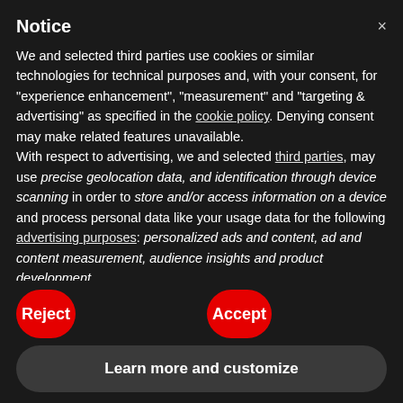Notice
We and selected third parties use cookies or similar technologies for technical purposes and, with your consent, for “experience enhancement”, “measurement” and “targeting & advertising” as specified in the cookie policy. Denying consent may make related features unavailable.
With respect to advertising, we and selected third parties, may use precise geolocation data, and identification through device scanning in order to store and/or access information on a device and process personal data like your usage data for the following advertising purposes: personalized ads and content, ad and content measurement, audience insights and product development.
You can freely give, deny, or withdraw your consent at any time by accessing the preferences panel.
Use the “Accept” button to consent to the use of such technologies. Use the “Reject” button or close this notice to
Reject
Accept
Learn more and customize